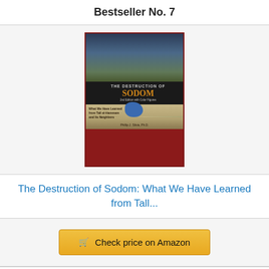Bestseller No. 7
[Figure (illustration): Book cover of 'The Destruction of Sodom: What We Have Learned from Tall el-Hammam and Its Neighbors' by Phillip J. Silvia, Ph.D. The cover features a dramatic sky with clouds on the top half and a map on the bottom half with a dark band containing the title in the middle.]
The Destruction of Sodom: What We Have Learned from Tall...
Check price on Amazon
Bestseller No. 8